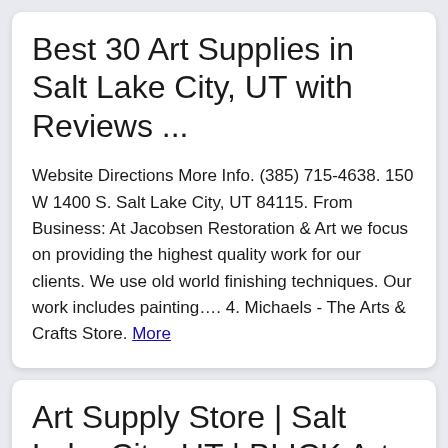Best 30 Art Supplies in Salt Lake City, UT with Reviews ...
Website Directions More Info. (385) 715-4638. 150 W 1400 S. Salt Lake City, UT 84115. From Business: At Jacobsen Restoration & Art we focus on providing the highest quality work for our clients. We use old world finishing techniques. Our work includes painting…. 4. Michaels - The Arts & Crafts Store. More
Art Supply Store | Salt Lake City, UT | BLICK Art Materials
Visit the Salt Lake City BLICK store in Sugar House and shop a wide assortment of art supplies, craft supplies, and unique gift items. We have the greatest selection for professional